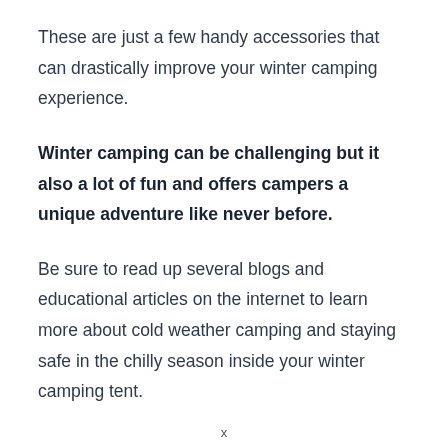These are just a few handy accessories that can drastically improve your winter camping experience.
Winter camping can be challenging but it also a lot of fun and offers campers a unique adventure like never before.
Be sure to read up several blogs and educational articles on the internet to learn more about cold weather camping and staying safe in the chilly season inside your winter camping tent.